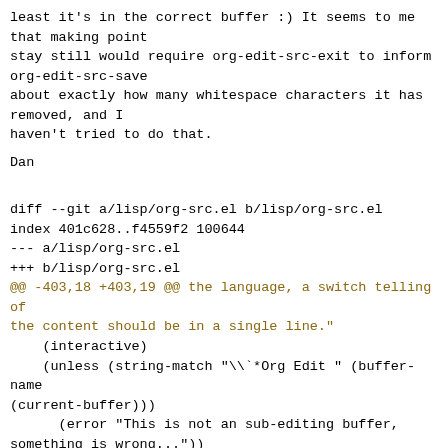least it's in the correct buffer :) It seems to me that making point
stay still would require org-edit-src-exit to inform org-edit-src-save
about exactly how many whitespace characters it has removed, and I
haven't tried to do that.
Dan
diff --git a/lisp/org-src.el b/lisp/org-src.el
index 401c628..f4559f2 100644
--- a/lisp/org-src.el
+++ b/lisp/org-src.el
@@ -403,18 +403,19 @@ the language, a switch telling of the content should be in a single line."
    (interactive)
    (unless (string-match "\\\\`*Org Edit " (buffer-name (current-buffer)))
      (error "This is not an sub-editing buffer, something is wrong..."))
-  (let ((line (if (org-bound-and-true-p org-edit-src-force-single-line)
-                  1
-              (org-current-line)))
-        (beg org-edit-src-beg-marker)
+  (let ((beg org-edit-src-beg-marker)
        (end org-edit-src-end-marker)
        (ovl org-edit-src-overlay)
        (buffer (current-buffer))